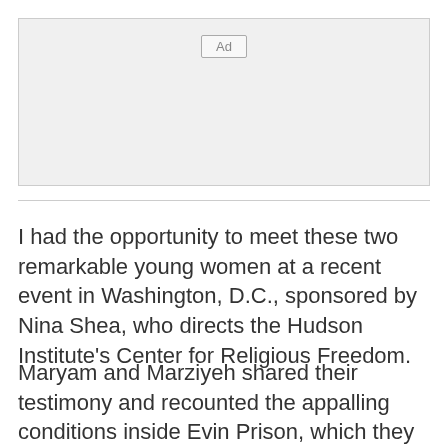[Figure (other): Advertisement placeholder box with 'Ad' label]
I had the opportunity to meet these two remarkable young women at a recent event in Washington, D.C., sponsored by Nina Shea, who directs the Hudson Institute's Center for Religious Freedom.
Maryam and Marziyeh shared their testimony and recounted the appalling conditions inside Evin Prison, which they have written about